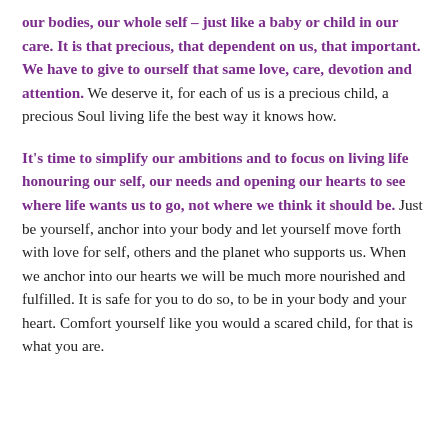our bodies, our whole self – just like a baby or child in our care. It is that precious, that dependent on us, that important. We have to give to ourself that same love, care, devotion and attention. We deserve it, for each of us is a precious child, a precious Soul living life the best way it knows how.
It's time to simplify our ambitions and to focus on living life honouring our self, our needs and opening our hearts to see where life wants us to go, not where we think it should be. Just be yourself, anchor into your body and let yourself move forth with love for self, others and the planet who supports us. When we anchor into our hearts we will be much more nourished and fulfilled. It is safe for you to do so, to be in your body and your heart. Comfort yourself like you would a scared child, for that is what you are.